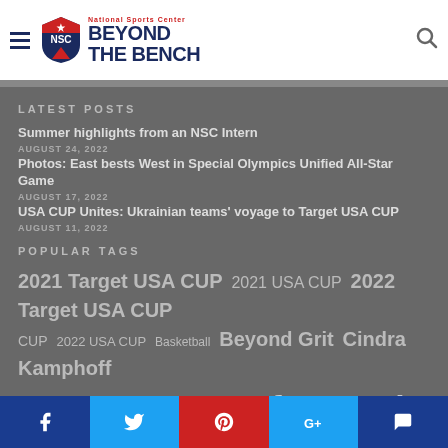National Sports Center Beyond The Bench
LATEST POSTS
Summer highlights from an NSC Intern
AUGUST 24, 2022
Photos: East bests West in Special Olympics Unified All-Star Game
AUGUST 17, 2022
USA CUP Unites: Ukrainian teams' voyage to Target USA CUP
AUGUST 11, 2022
POPULAR TAGS
2021 Target USA CUP  2021 USA CUP  2022 Target USA CUP  2022 USA CUP  Basketball  Beyond Grit  Cindra Kamphoff  Cleats  Entertainment  featured  Featured Team  Golf  Health and wellness  Hockey  Hockey Tournament  Lifestyle  MASC  Media Releases  Minnesota Amateur Sports Commission  Minnesota sports  Minnesota United  Minnesota Vikings  MNUFC  National Sports Center  nsc campus  NSC Learning  Opinions  Photos  Podcasts
Facebook Twitter Pinterest Google+ Comments